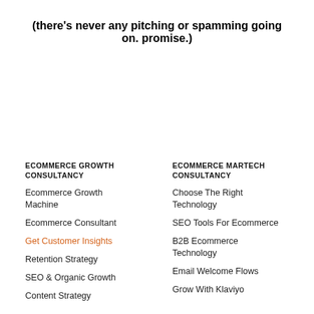(there's never any pitching or spamming going on. promise.)
ECOMMERCE GROWTH CONSULTANCY
Ecommerce Growth Machine
Ecommerce Consultant
Get Customer Insights
Retention Strategy
SEO & Organic Growth
Content Strategy
ECOMMERCE MARTECH CONSULTANCY
Choose The Right Technology
SEO Tools For Ecommerce
B2B Ecommerce Technology
Email Welcome Flows
Grow With Klaviyo